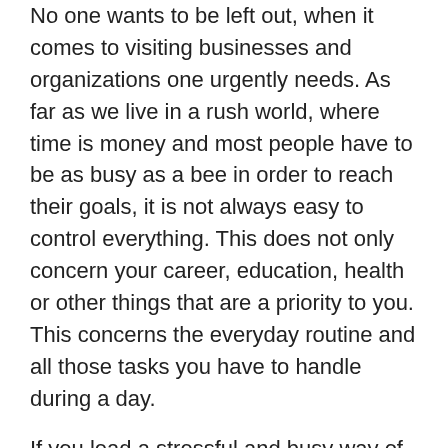No one wants to be left out, when it comes to visiting businesses and organizations one urgently needs. As far as we live in a rush world, where time is money and most people have to be as busy as a bee in order to reach their goals, it is not always easy to control everything. This does not only concern your career, education, health or other things that are a priority to you. This concerns the everyday routine and all those tasks you have to handle during a day.
If you lead a stressful and busy way of life, then you have certainly faced the depressing situations, when you arrived to the bank, post office or any other organization just to find out that it has just closed. No doubt, such situations are very frustrating and cannot only spoil your mood, but also ruin your plans. To prevent this from happening, we offer you to make use of the new online service – Australia Opening Times! This is a number one destination for those people, who value their time and effort.
The new web-based directory was created with your comfort in mind and functionality in…